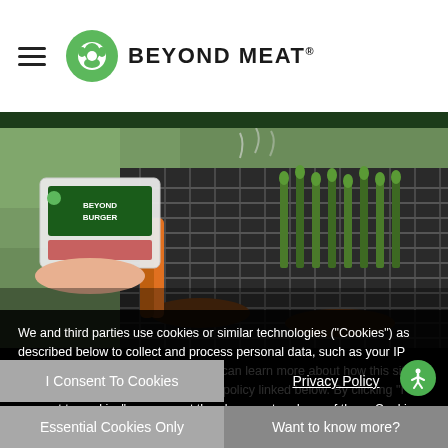BEYOND MEAT
[Figure (photo): A hand holding a Beyond Burger package next to a grill with asparagus and burger patties cooking, with tongs and steam visible.]
We and third parties use cookies or similar technologies ("Cookies") as described below to collect and process personal data, such as your IP address or browser information. You can learn more about how this site uses Cookies by reading our privacy policy linked below. By clicking "I consent to cookies", you accept the placement and use of these Cookies for these purposes. You can change your mind and revisit your preferences at any time by accessing the "Cookie Preferences" link in the footer of this site.
I Consent To Cookies
Privacy Policy
Essential Cookies Only
Want to know more?